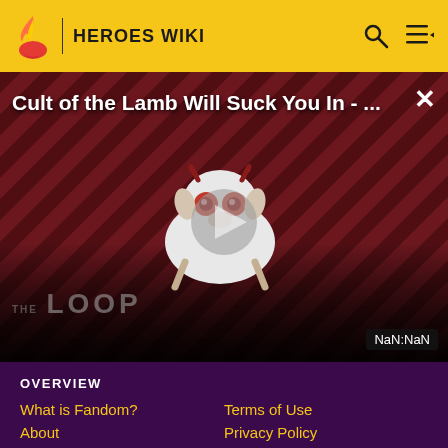HEROES WIKI
[Figure (screenshot): Video player thumbnail for 'Cult of the Lamb Will Suck You In - ...' showing a cartoon lamb character with red eyes on a dark red diagonal striped background with THE LOOP watermark and NaN:NaN time display]
Cult of the Lamb Will Suck You In - ...
OVERVIEW
What is Fandom?
Terms of Use
About
Privacy Policy